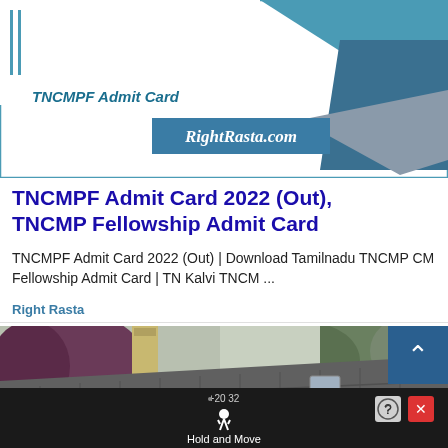[Figure (illustration): TNCMPF Admit Card graphic banner with teal border, decorative triangles in teal and gray, RightRasta.com watermark badge, and two vertical teal lines on the left]
TNCMPF Admit Card 2022 (Out), TNCMP Fellowship Admit Card
TNCMPF Admit Card 2022 (Out) | Download Tamilnadu TNCMP CM Fellowship Admit Card | TN Kalvi TNCM ...
Right Rasta
[Figure (photo): Photograph of a house roof with dark shingles, brick chimney, purple/dark trees on the left, and green trees in the background. A scroll-to-top button (teal, upward chevron) overlays the top-right.]
[Figure (screenshot): Dark ad bar at the bottom showing numbers +20 and 32, a person walking icon, and 'Hold and Move' text, with a question mark button and red X close button on the right.]